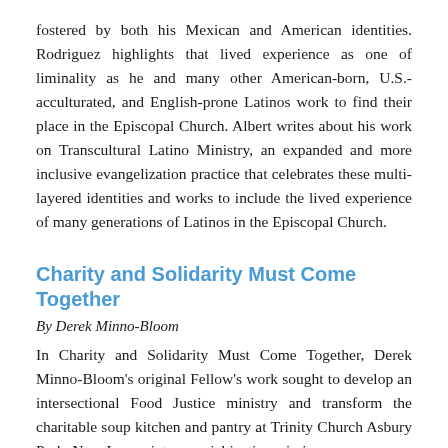fostered by both his Mexican and American identities. Rodriguez highlights that lived experience as one of liminality as he and many other American-born, U.S.-acculturated, and English-prone Latinos work to find their place in the Episcopal Church. Albert writes about his work on Transcultural Latino Ministry, an expanded and more inclusive evangelization practice that celebrates these multi-layered identities and works to include the lived experience of many generations of Latinos in the Episcopal Church.
Charity and Solidarity Must Come Together
By Derek Minno-Bloom
In Charity and Solidarity Must Come Together, Derek Minno-Bloom's original Fellow's work sought to develop an intersectional Food Justice ministry and transform the charitable soup kitchen and pantry at Trinity Church Asbury Park, New Jersey, into a social justice mission